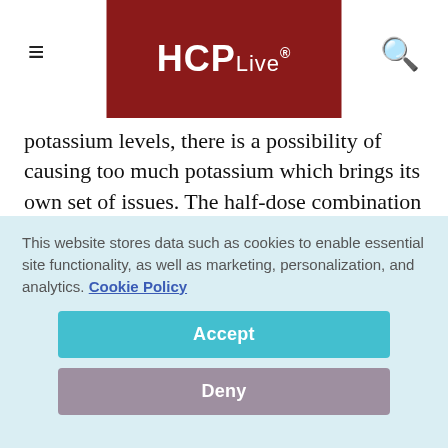HCPLive®
potassium levels, there is a possibility of causing too much potassium which brings its own set of issues. The half-dose combination therapy, however, can enhance sodium excretion in two different targets in the kidneys while 'neutralizing' the potassium changes. The result of this...
This website stores data such as cookies to enable essential site functionality, as well as marketing, personalization, and analytics. Cookie Policy
Accept
Deny